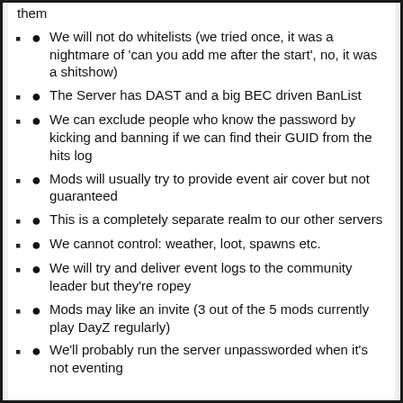them
● We will not do whitelists (we tried once, it was a nightmare of 'can you add me after the start', no, it was a shitshow)
● The Server has DAST and a big BEC driven BanList
● We can exclude people who know the password by kicking and banning if we can find their GUID from the hits log
● Mods will usually try to provide event air cover but not guaranteed
● This is a completely separate realm to our other servers
● We cannot control: weather, loot, spawns etc.
● We will try and deliver event logs to the community leader but they're ropey
● Mods may like an invite (3 out of the 5 mods currently play DayZ regularly)
● We'll probably run the server unpassworded when it's not eventing